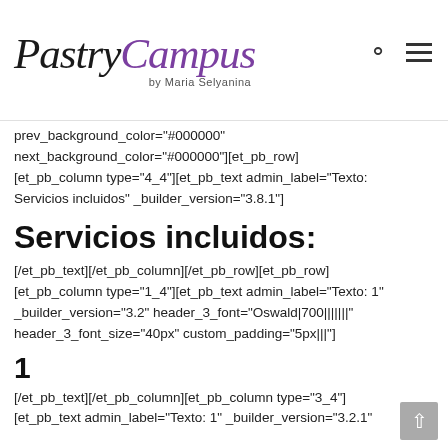Pastry Campus by Maria Selyanina
prev_background_color="#000000" next_background_color="#000000"][et_pb_row] [et_pb_column type="4_4"][et_pb_text admin_label="Texto: Servicios incluidos" _builder_version="3.8.1"]
Servicios incluidos:
[/et_pb_text][/et_pb_column][/et_pb_row][et_pb_row] [et_pb_column type="1_4"][et_pb_text admin_label="Texto: 1" _builder_version="3.2" header_3_font="Oswald|700|||||||" header_3_font_size="40px" custom_padding="5px|||"]
1
[/et_pb_text][/et_pb_column][et_pb_column type="3_4"] [et_pb_text admin_label="Texto: 1" _builder_version="3.2.1"